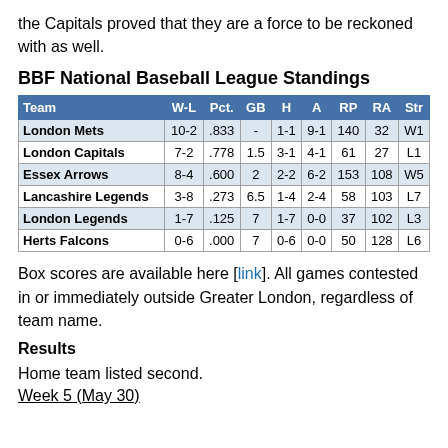the Capitals proved that they are a force to be reckoned with as well.
BBF National Baseball League Standings
| Team | W-L | Pct. | GB | H | A | RP | RA | Str |
| --- | --- | --- | --- | --- | --- | --- | --- | --- |
| London Mets | 10-2 | .833 | - | 1-1 | 9-1 | 140 | 32 | W1 |
| London Capitals | 7-2 | .778 | 1.5 | 3-1 | 4-1 | 61 | 27 | L1 |
| Essex Arrows | 8-4 | .600 | 2 | 2-2 | 6-2 | 153 | 108 | W5 |
| Lancashire Legends | 3-8 | .273 | 6.5 | 1-4 | 2-4 | 58 | 103 | L7 |
| London Legends | 1-7 | .125 | 7 | 1-7 | 0-0 | 37 | 102 | L3 |
| Herts Falcons | 0-6 | .000 | 7 | 0-6 | 0-0 | 50 | 128 | L6 |
Box scores are available here [link]. All games contested in or immediately outside Greater London, regardless of team name.
Results
Home team listed second.
Week 5 (May 30)